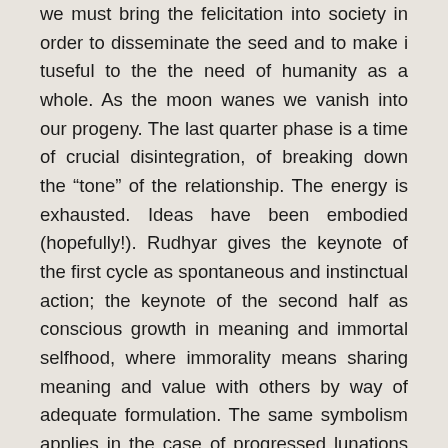we must bring the felicitation into society in order to disseminate the seed and to make i tuseful to the the need of humanity as a whole. As the moon wanes we vanish into our progeny. The last quarter phase is a time of crucial disintegration, of breaking down the “tone” of the relationship. The energy is exhausted. Ideas have been embodied (hopefully!). Rudhyar gives the keynote of the first cycle as spontaneous and instinctual action; the keynote of the second half as conscious growth in meaning and immortal selfhood, where immorality means sharing meaning and value with others by way of adequate formulation. The same symbolism applies in the case of progressed lunations except it shows the unfolding of opportunity over the lifetime inthe form of the Progressed Lunar Cycle with its one year for one day terminology- that Idea of 90 days being 90 years of individual life expectancy, the “fourscore years and ten” of the bible. The new moon before birth is particularly significant. Rudhyar calls it the “key to the basic character of our inherent vitality